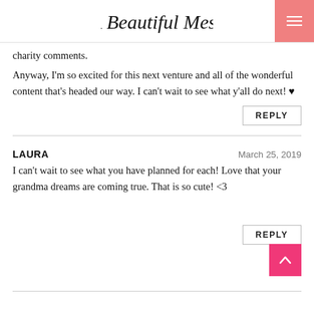A Beautiful Mess
charity comments.
Anyway, I'm so excited for this next venture and all of the wonderful content that's headed our way. I can't wait to see what y'all do next! ♥
REPLY
LAURA — March 25, 2019
I can't wait to see what you have planned for each! Love that your grandma dreams are coming true. That is so cute! <3
REPLY